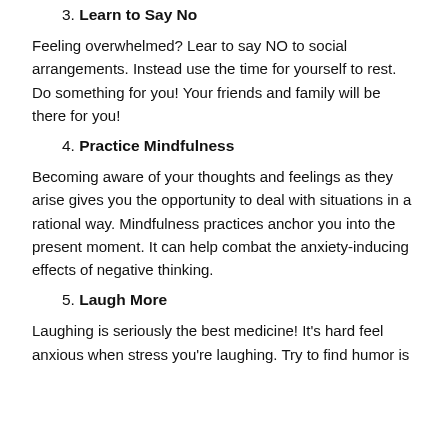3. Learn to Say No
Feeling overwhelmed? Lear to say NO to social arrangements. Instead use the time for yourself to rest. Do something for you! Your friends and family will be there for you!
4. Practice Mindfulness
Becoming aware of your thoughts and feelings as they arise gives you the opportunity to deal with situations in a rational way. Mindfulness practices anchor you into the present moment. It can help combat the anxiety-inducing effects of negative thinking.
5. Laugh More
Laughing is seriously the best medicine! It's hard feel anxious when stress you're laughing. Try to find humor is